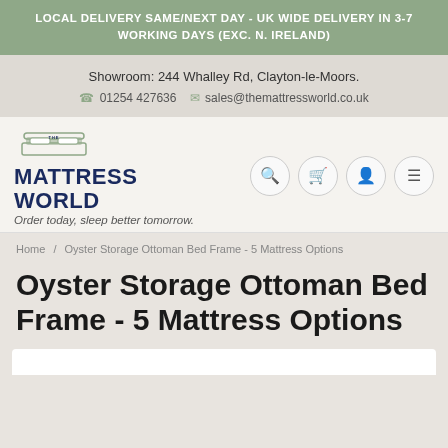LOCAL DELIVERY SAME/NEXT DAY - UK WIDE DELIVERY IN 3-7 WORKING DAYS (EXC. N. IRELAND)
Showroom: 244 Whalley Rd, Clayton-le-Moors.
☎ 01254 427636  ✉ sales@themattressworld.co.uk
[Figure (logo): The Mattress World logo with stylized bed frame icon and tagline 'Order today, sleep better tomorrow.']
Home / Oyster Storage Ottoman Bed Frame - 5 Mattress Options
Oyster Storage Ottoman Bed Frame - 5 Mattress Options